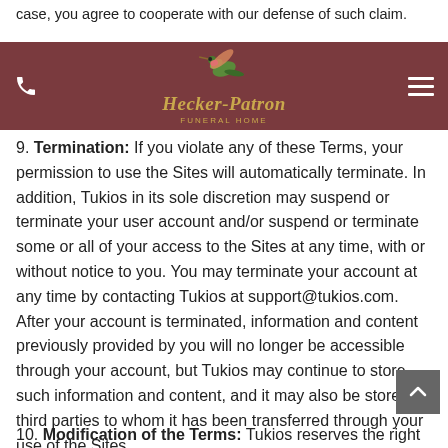case, you agree to cooperate with our defense of such claim.
Hecker-Patron Funeral Home — navigation bar
9. Termination: If you violate any of these Terms, your permission to use the Sites will automatically terminate. In addition, Tukios in its sole discretion may suspend or terminate your user account and/or suspend or terminate some or all of your access to the Sites at any time, with or without notice to you. You may terminate your account at any time by contacting Tukios at support@tukios.com. After your account is terminated, information and content previously provided by you will no longer be accessible through your account, but Tukios may continue to store such information and content, and it may also be stored by third parties to whom it has been transferred through your use of the Sites.
10. Modification of the Terms: Tukios reserves the right